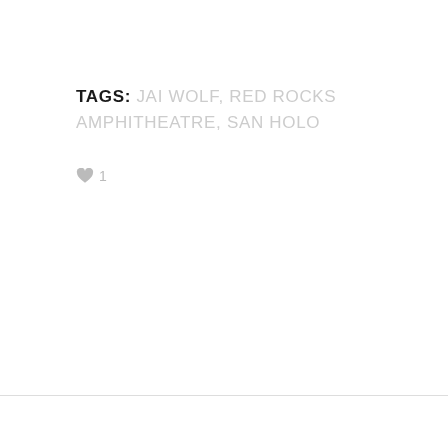TAGS: JAI WOLF, RED ROCKS AMPHITHEATRE, SAN HOLO
♥ 1